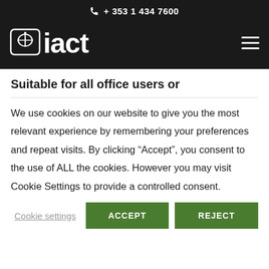+ 353 1 434 7600
[Figure (logo): IACT logo with book icon and white text on black background]
Suitable for all office users or
We use cookies on our website to give you the most relevant experience by remembering your preferences and repeat visits. By clicking “Accept”, you consent to the use of ALL the cookies. However you may visit Cookie Settings to provide a controlled consent.
Cookie settings | ACCEPT | REJECT